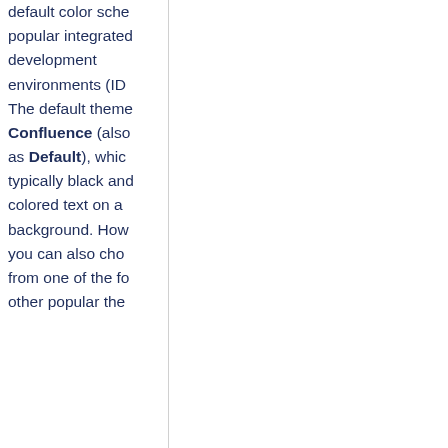default color scheme of popular integrated development environments (IDEs). The default theme is Confluence (also known as Default), which features typically black and colored text on a white background. However, you can also choose from one of the following other popular themes:
DJango
Emacs
FadeToGrey
Midnight
RDark
Eclipse
Confluence